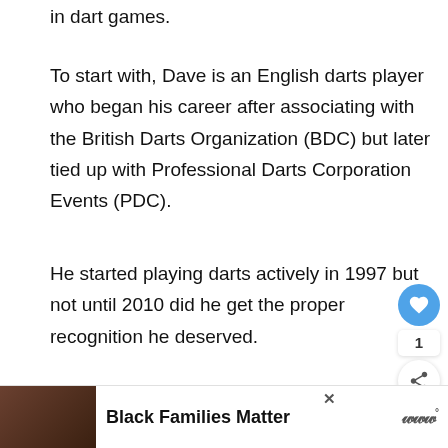in dart games.
To start with, Dave is an English darts player who began his career after associating with the British Darts Organization (BDC) but later tied up with Professional Darts Corporation Events (PDC).
He started playing darts actively in 1997 but not until 2010 did he get the proper recognition he deserved.
[Figure (photo): A man (darts player) on stage in a dark arena with red/dark background lighting.]
[Figure (photo): Advertisement banner: Black Families Matter with family photo on left and streaming logo on right.]